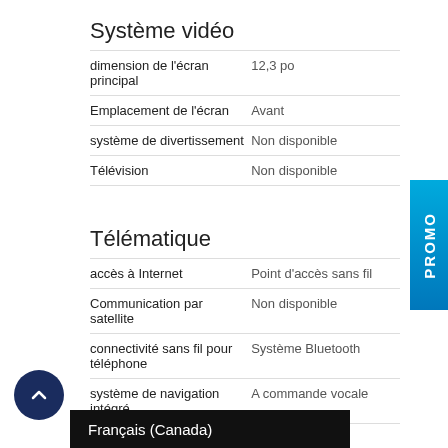Système vidéo
| dimension de l'écran principal | 12,3 po |
| Emplacement de l'écran | Avant |
| système de divertissement | Non disponible |
| Télévision | Non disponible |
Télématique
| accès à Internet | Point d'accès sans fil |
| Communication par satellite | Non disponible |
| connectivité sans fil pour téléphone | Système Bluetooth |
| système de navigation intégré | A commande vocale |
| Téléphone | Non disponible |
Titre
| compresseur | Deux turbocompresseurs |
|  | 3,0L |
Français (Canada)